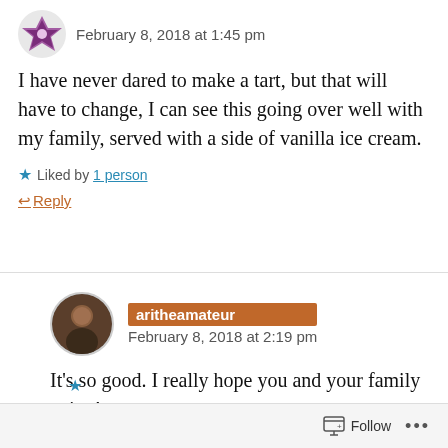February 8, 2018 at 1:45 pm
I have never dared to make a tart, but that will have to change, I can see this going over well with my family, served with a side of vanilla ice cream.
Liked by 1 person
Reply
aritheamateur
February 8, 2018 at 2:19 pm
It's so good. I really hope you and your family enjoy!